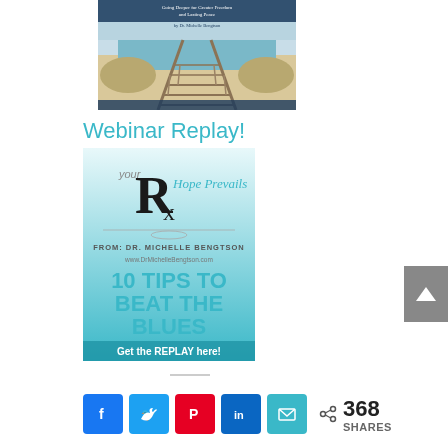[Figure (photo): Book cover showing a beach boardwalk path, with text 'Going Deeper for Greater Freedom and Lasting Peace' and 'by Dr. Michelle Bengtson']
Webinar Replay!
[Figure (illustration): Webinar promotional image: 'Your Rx Hope Prevails FROM: DR. MICHELLE BENGTSON www.DrMichelleBengtson.com 10 TIPS TO BEAT THE BLUES Get the REPLAY here!']
368 SHARES